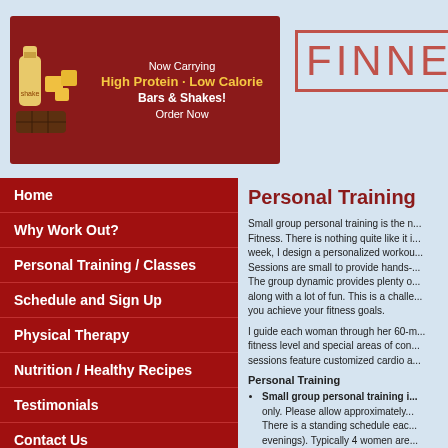[Figure (infographic): Promotional banner ad for High Protein Low Calorie Bars and Shakes with food images on dark red background]
[Figure (logo): FINNEY site logo text in outlined red letters]
Home
Why Work Out?
Personal Training / Classes
Schedule and Sign Up
Physical Therapy
Nutrition / Healthy Recipes
Testimonials
Contact Us
Personal Training
Small group personal training is the n... Fitness. There is nothing quite like it i... week, I design a personalized workou... Sessions are small to provide hands-... The group dynamic provides plenty o... along with a lot of fun. This is a challe... you achieve your fitness goals.
I guide each woman through her 60-m... fitness level and special areas of con... sessions feature customized cardio a...
Personal Training
Small group personal training i... only. Please allow approximately... There is a standing schedule eac... evenings). Typically 4 women are... matter what your fitness level, eve... challenged in order to meet their m...